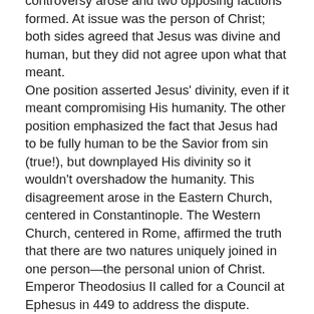controversy arose and two opposing factions formed. At issue was the person of Christ; both sides agreed that Jesus was divine and human, but they did not agree upon what that meant. One position asserted Jesus' divinity, even if it meant compromising His humanity. The other position emphasized the fact that Jesus had to be fully human to be the Savior from sin (true!), but downplayed His divinity so it wouldn't overshadow the humanity. This disagreement arose in the Eastern Church, centered in Constantinople. The Western Church, centered in Rome, affirmed the truth that there are two natures uniquely joined in one person—the personal union of Christ. Emperor Theodosius II called for a Council at Ephesus in 449 to address the dispute. Unfortunately, the council was controlled completely by one side, the other side was silenced, and the doctrine of two natures was declared to be heresy. The council solved nothing. The status quo changed when Emperor Theodosius suddenly